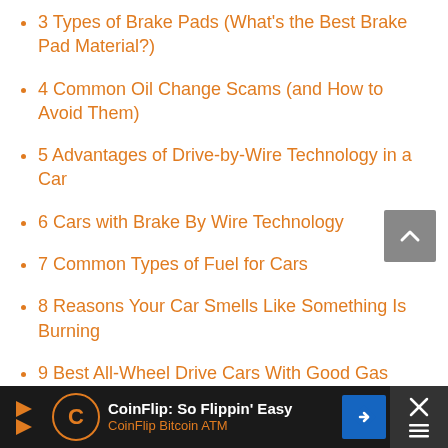3 Types of Brake Pads (What's the Best Brake Pad Material?)
4 Common Oil Change Scams (and How to Avoid Them)
5 Advantages of Drive-by-Wire Technology in a Car
6 Cars with Brake By Wire Technology
7 Common Types of Fuel for Cars
8 Reasons Your Car Smells Like Something Is Burning
9 Best All-Wheel Drive Cars With Good Gas
CoinFlip: So Flippin' Easy  CoinFlip Bitcoin ATM